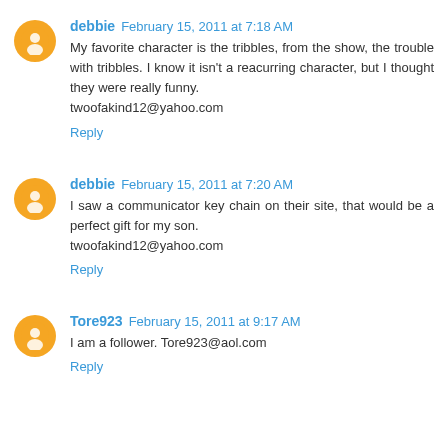debbie  February 15, 2011 at 7:18 AM
My favorite character is the tribbles, from the show, the trouble with tribbles. I know it isn't a reacurring character, but I thought they were really funny.
twoofakind12@yahoo.com
Reply
debbie  February 15, 2011 at 7:20 AM
I saw a communicator key chain on their site, that would be a perfect gift for my son.
twoofakind12@yahoo.com
Reply
Tore923  February 15, 2011 at 9:17 AM
I am a follower. Tore923@aol.com
Reply